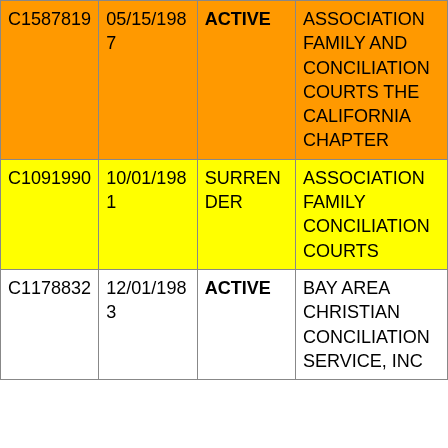| C1587819 | 05/15/1987 | ACTIVE | ASSOCIATION FAMILY AND CONCILIATION COURTS THE CALIFORNIA CHAPTER |
| C1091990 | 10/01/1981 | SURRENDER | ASSOCIATION FAMILY CONCILIATION COURTS |
| C1178832 | 12/01/1983 | ACTIVE | BAY AREA CHRISTIAN CONCILIATION SERVICE, INC |